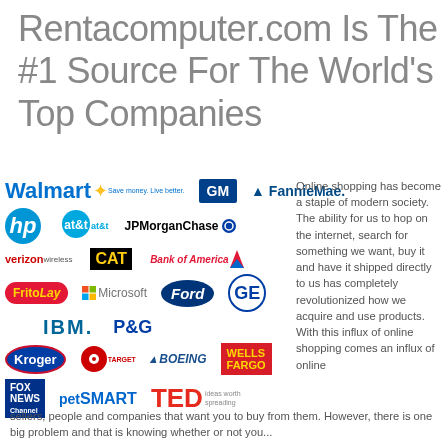Rentacomputer.com Is The #1 Source For The World's Top Companies
[Figure (infographic): Grid of company logos including Walmart, GM, Fannie Mae, HP, AT&T, JPMorgan Chase, CAT, Bank of America, Verizon Wireless, Microsoft, Ford, GE, Frito Lay, IBM, P&G, Kroger, Target, Boeing, Wells Fargo, Fox News, PetSmart, TED]
Online shopping has become a staple of modern society. The ability for us to hop on the internet, search for something we want, buy it and have it shipped directly to us has completely revolutionized how we acquire and use products. With this influx of online shopping comes an influx of online sellers, people and companies that want you to buy from them. However, there is one big problem and that is knowing whether or not you...